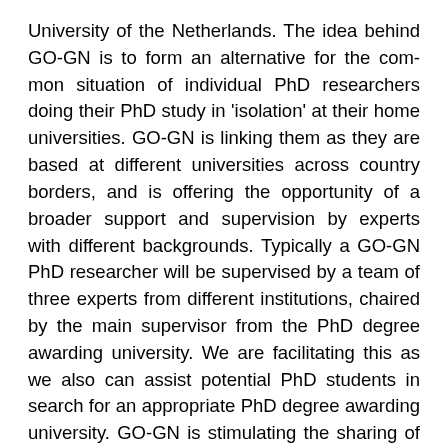University of the Netherlands. The idea behind GO-GN is to form an alternative for the com- mon situation of individual PhD researchers doing their PhD study in 'isolation' at their home universities. GO-GN is linking them as they are based at different universities across country borders, and is offering the opportunity of a broader support and supervision by experts with different backgrounds. Typically a GO-GN PhD researcher will be supervised by a team of three experts from different institutions, chaired by the main supervisor from the PhD degree awarding university. We are facilitating this as we also can assist potential PhD students in search for an appropriate PhD degree awarding university. GO-GN is stimulating the sharing of PhD study practices and experiences and the development of working relations among its PhD researchers and supervisors. And we will guide our members towards courses that can be taken online in order to raise their competencies within the context of